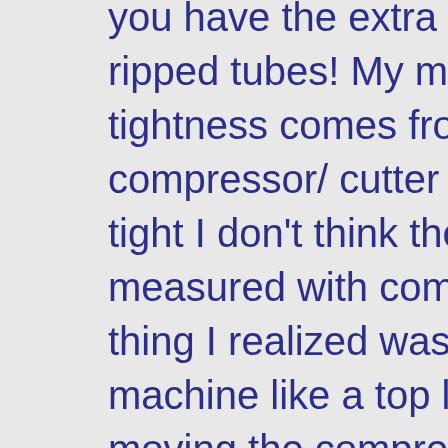you have the extra plug to trim, but no ripped tubes! My machine is tight! The tightness comes from the fit of the compressor/ cutter block; which is so tight I don't think the tolerances can be measured with common tools. The first thing I realized was I was loading the machine like a top loader. Once loaded, moving the compressor lever closes the chamber, and moves the tobacco in-line of the tube and then compresses it. The chamber lip is shaped in a V fashion to facilitate the cut, and insure the center is kept as loaded I believe, but I'm not an Engineer and could be wrong. The bottom comes off for cleaning which is a snap with a small brush! No where in the instructions is lubrication mentioned! All in all I'm quite satisfied with the EXP 1000. It makes good smokes, and is tolerant of all the tobaccos I use. I simply followed the instructions. Since the machine is designed to make 100mm,